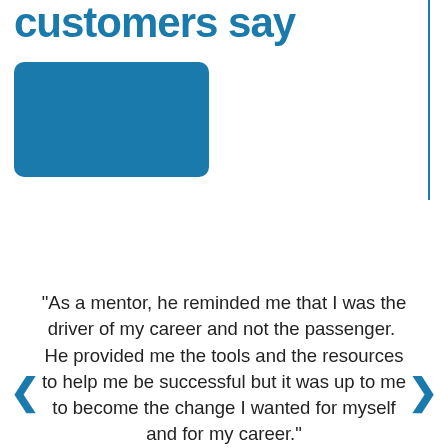customers say
[Figure (photo): Blue rectangle placeholder image representing a photo]
"As a mentor, he reminded me that I was the driver of my career and not the passenger.  He provided me the tools and the resources to help me be successful but it was up to me to become the change I wanted for myself and for my career."